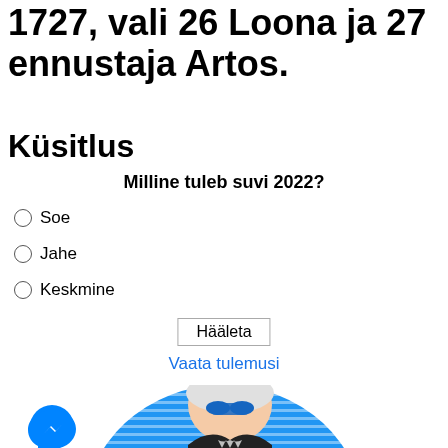1727, vali 26 Loona ja 27 ennustaja Artos.
Küsitlus
Milline tuleb suvi 2022?
Soe
Jahe
Keskmine
Hääleta
Vaata tulemusi
[Figure (illustration): Cartoon illustration of an elderly man with white hair and blue sunglasses, wearing a dark suit, against a blue striped background. A Facebook Messenger chat bubble icon appears in the bottom left.]